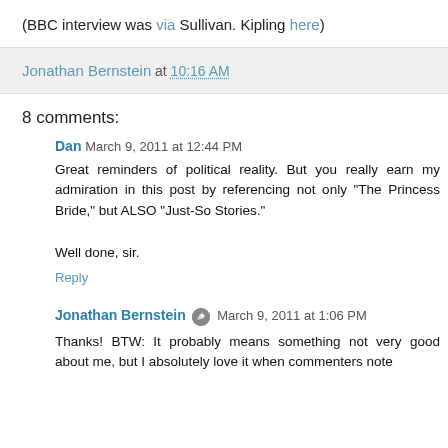(BBC interview was via Sullivan. Kipling here)
Jonathan Bernstein at 10:16 AM
8 comments:
Dan  March 9, 2011 at 12:44 PM
Great reminders of political reality. But you really earn my admiration in this post by referencing not only "The Princess Bride," but ALSO "Just-So Stories."

Well done, sir.
Reply
Jonathan Bernstein  March 9, 2011 at 1:06 PM
Thanks! BTW: It probably means something not very good about me, but I absolutely love it when commenters note